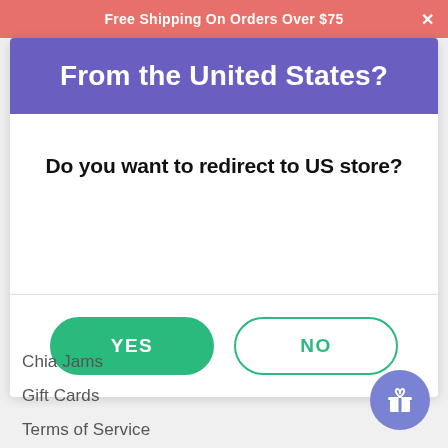Free Shipping On Orders Over $75
From the United States?
Do you want to redirect to US store?
YES
NO
Chia Jams
Gift Cards
Terms of Service
Refund policy